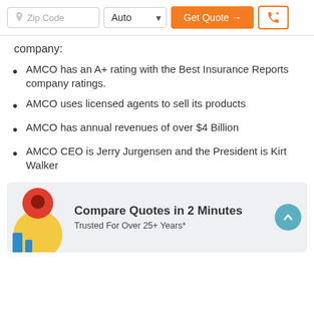Zip Code | Auto | Get Quote → | [phone icon]
company:
AMCO has an A+ rating with the Best Insurance Reports company ratings.
AMCO uses licensed agents to sell its products
AMCO has annual revenues of over $4 Billion
AMCO CEO is Jerry Jurgensen and the President is Kirt Walker
[Figure (infographic): Banner with map pin icon showing 'Compare Quotes in 2 Minutes' and 'Trusted For Over 25+ Years*' with a teal scroll-to-top button]